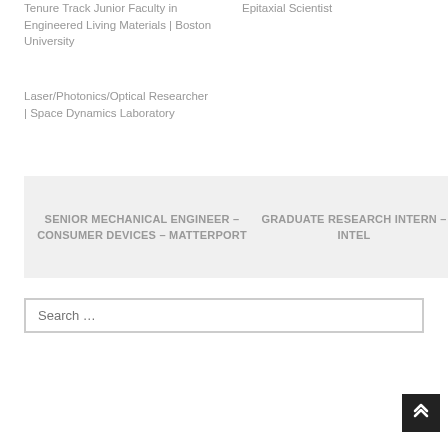Tenure Track Junior Faculty in Engineered Living Materials | Boston University
Epitaxial Scientist
Laser/Photonics/Optical Researcher | Space Dynamics Laboratory
SENIOR MECHANICAL ENGINEER – CONSUMER DEVICES – MATTERPORT
GRADUATE RESEARCH INTERN – INTEL